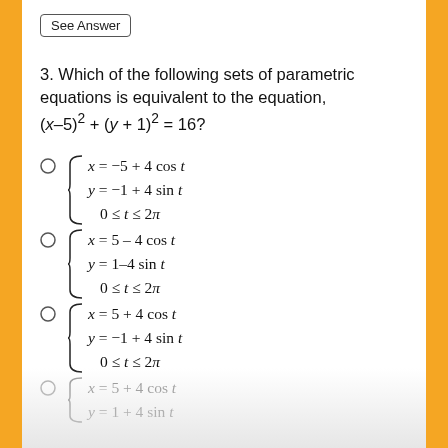See Answer
3. Which of the following sets of parametric equations is equivalent to the equation, (x–5)² + (y + 1)² = 16?
x = −5 + 4 cos t
y = −1 + 4 sin t
0 ≤ t ≤ 2π
x = 5 – 4 cos t
y = 1–4 sin t
0 ≤ t ≤ 2π
x = 5 + 4 cos t
y = −1 + 4 sin t
0 ≤ t ≤ 2π
x = 5 + 4 cos t
y = 1 + 4 sin t